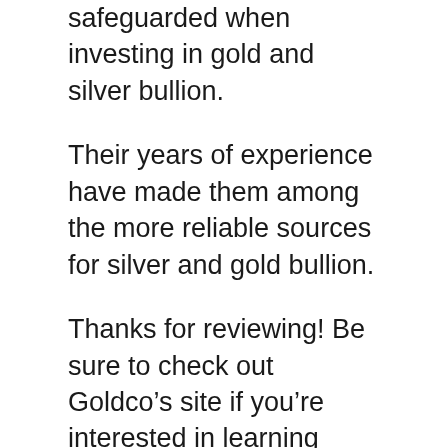safeguarded when investing in gold and silver bullion.
Their years of experience have made them among the more reliable sources for silver and gold bullion.
Thanks for reviewing! Be sure to check out Goldco’s site if you’re interested in learning more regarding their solutions!
That are they? 5 factors to buy from Goldco Goldco is a leading rare-earth element provider that has actually been in the business for over 20 years. They provide a secure customer service facility that allows clients to pay via charge card or check. Goldco believes that your cash ought to be